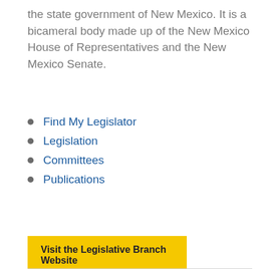the state government of New Mexico. It is a bicameral body made up of the New Mexico House of Representatives and the New Mexico Senate.
Find My Legislator
Legislation
Committees
Publications
Visit the Legislative Branch Website